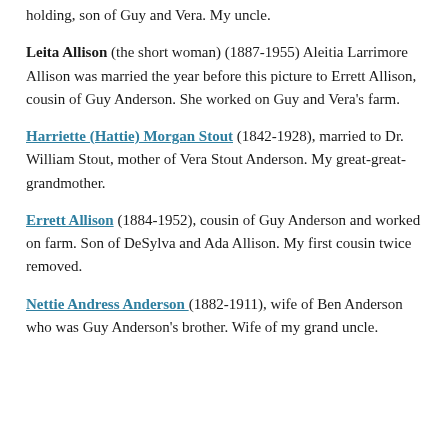holding, son of Guy and Vera. My uncle.
Leita Allison (the short woman) (1887-1955) Aleitia Larrimore Allison was married the year before this picture to Errett Allison, cousin of Guy Anderson. She worked on Guy and Vera's farm.
Harriette (Hattie) Morgan Stout (1842-1928), married to Dr. William Stout, mother of Vera Stout Anderson. My great-great-grandmother.
Errett Allison (1884-1952), cousin of Guy Anderson and worked on farm. Son of DeSylva and Ada Allison. My first cousin twice removed.
Nettie Andress Anderson (1882-1911), wife of Ben Anderson who was Guy Anderson's brother. Wife of my grand uncle.